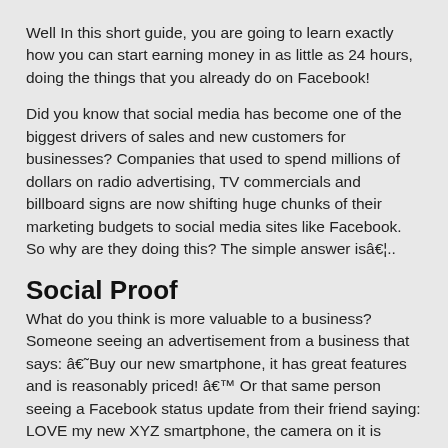Well In this short guide, you are going to learn exactly how you can start earning money in as little as 24 hours, doing the things that you already do on Facebook!
Did you know that social media has become one of the biggest drivers of sales and new customers for businesses? Companies that used to spend millions of dollars on radio advertising, TV commercials and billboard signs are now shifting huge chunks of their marketing budgets to social media sites like Facebook. So why are they doing this? The simple answer isâ€¦..
Social Proof
What do you think is more valuable to a business? Someone seeing an advertisement from a business that says: â€˜Buy our new smartphone, it has great features and is reasonably priced! â€™ Or that same person seeing a Facebook status update from their friend saying: LOVE my new XYZ smartphone, the camera on it is amazing Of course, itâ€™s the latter. And thatâ€™s why social media is so powerful for business.
What you may not realise though, is that you have unwittingly